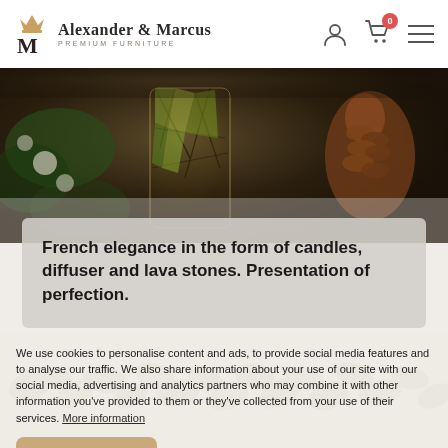Alexander & Marcus PREMIUM FURNITURE
[Figure (photo): Dark moody photo of a decorative glass candle holder with floral/botanical design, pine cone in background, greenery and white flowers]
French elegance in the form of candles, diffuser and lava stones. Presentation of perfection.
[Figure (photo): Strip of botanical illustration pattern with green leaves on cream/white background]
We use cookies to personalise content and ads, to provide social media features and to analyse our traffic. We also share information about your use of our site with our social media, advertising and analytics partners who may combine it with other information you've provided to them or they've collected from your use of their services. More information
i agree